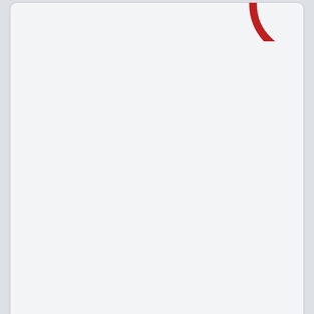[Figure (other): Partial red circular gauge/donut chart visible in top-right corner of upper card]
[Figure (other): Partial green circular gauge/donut chart visible in right side of lower card]
1000 Rallye I
Construction Year
1972 - 1978
| Classic-Cars | 20 Y Performance | 12 |
| --- | --- | --- |
| World | 124,72 % | 4 |
| France | 152,51 % | 4 |